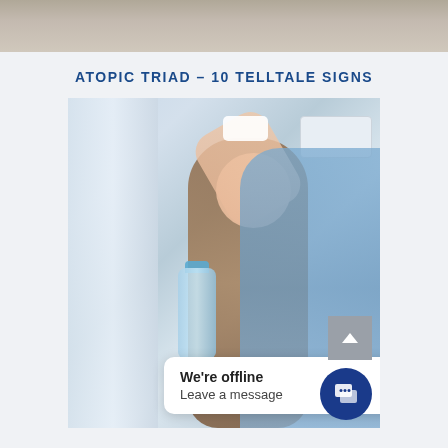[Figure (photo): Partial top strip of a photo, cropped, showing blurred background tones]
ATOPIC TRIAD – 10 TELLTALE SIGNS
[Figure (photo): Woman with long brown hair wearing a blue cardigan and white top, holding a water bottle, pressing a tissue to her forehead with eyes closed, appearing unwell or overheated. Background shows curtains and an air conditioning unit.]
We're offline
Leave a message